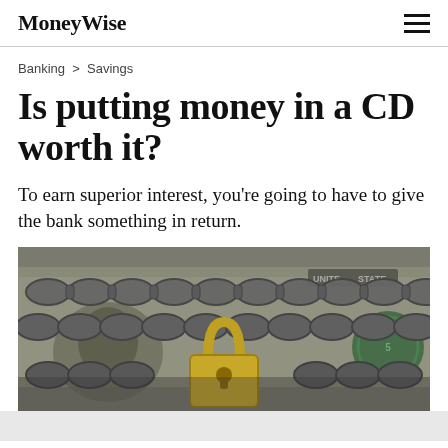MoneyWise
Banking > Savings
Is putting money in a CD worth it?
To earn superior interest, you're going to have to give the bank something in return.
[Figure (photo): Close-up photograph of US dollar bills wrapped in heavy metal chains with a brass padlock in the center, symbolizing locked or restricted money in a CD account.]